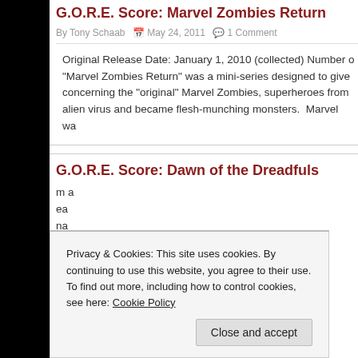G.O.R.E. Score: Marvel Zombies Return
By Tony Schaab  May 24, 2011  1 Comment
Original Release Date: January 1, 2010 (collected) Number o... "Marvel Zombies Return" was a mini-series designed to give... concerning the "original" Marvel Zombies, superheroes from... alien virus and became flesh-munching monsters. Marvel wa...
G.O.R.E. Score: Dawn of the Dreadfuls
...m a ...ea... ...na... book "Dreadfully Ever After," to [...]
Privacy & Cookies: This site uses cookies. By continuing to use this website, you agree to their use.
To find out more, including how to control cookies, see here: Cookie Policy
Close and accept